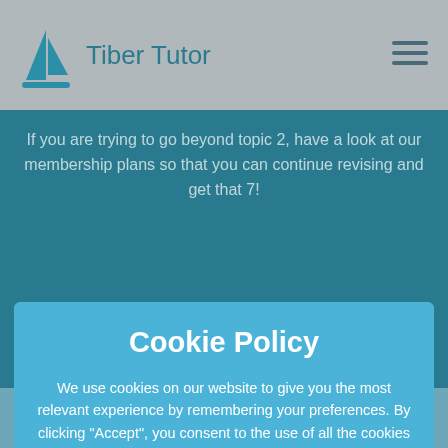Tiber Tutor
If you are trying to go beyond topic 2, have a look at our membership plans so that you can continue revising and get that 7!
Cookie Policy
We use cookies on our website to give you the most relevant experience by remembering your preferences. By clicking “Accept”, you consent to the use of all the cookies on our site.
Sale of Information (California Residents).
Home   About   Useful Resources   Biology   Chemistry   Physics   Login   Register